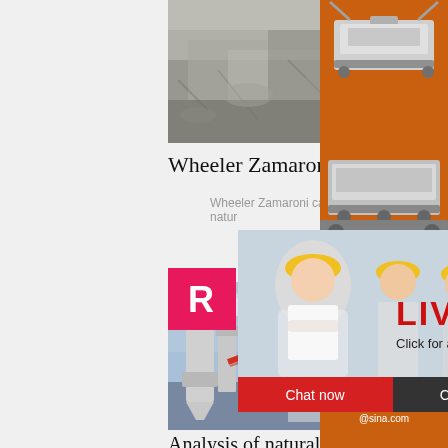[Figure (photo): Close-up photo of crushed stone/gravel aggregate material]
Wheeler Zamaroni
Wheeler Zamaroni carries a wide variety of natur
[Figure (photo): Live Chat popup overlay with workers wearing yellow hard hats, showing 'LIVE CHAT - Click for a Free Consultation' with Chat now and Chat later buttons]
[Figure (photo): Industrial mineral processing plant with conveyor belts and silos]
[Figure (infographic): Right sidebar orange advertisement showing mining equipment, 'Enjoy 3% discount', 'Click to Chat', 'Enquiry', and 'limingjlmofen@sina.com']
Analysis of natural stone block